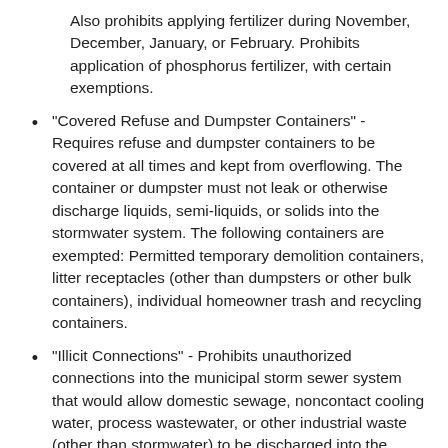Also prohibits applying fertilizer during November, December, January, or February. Prohibits application of phosphorus fertilizer, with certain exemptions.
“Covered Refuse and Dumpster Containers” - Requires refuse and dumpster containers to be covered at all times and kept from overflowing. The container or dumpster must not leak or otherwise discharge liquids, semi-liquids, or solids into the stormwater system. The following containers are exempted: Permitted temporary demolition containers, litter receptacles (other than dumpsters or other bulk containers), individual homeowner trash and recycling containers.
“Illicit Connections” - Prohibits unauthorized connections into the municipal storm sewer system that would allow domestic sewage, noncontact cooling water, process wastewater, or other industrial waste (other than stormwater) to be discharged into the sewer system.
“Improper Waste Disposal” - Prohibits dumping,